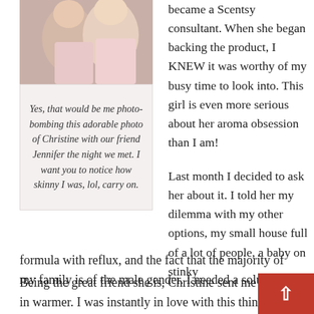[Figure (photo): Two women smiling together in a photo, one wearing pink]
Yes, that would be me photo-bombing this adorable photo of Christine with our friend Jennifer the night we met. I want you to notice how skinny I was, lol, carry on.
became a Scentsy consultant. When she began backing the product, I KNEW it was worthy of my busy time to look into. This girl is even more serious about her aroma obsession than I am!
Last month I decided to ask her about it. I told her my dilemma with my other options, my small house full of a lot of people, a baby on stinky formula with reflux, and the fact that the majority of my family is of the male gender. I needed a solution.
Being the great friend she is, Christine sent me a plug in warmer. I was instantly in love with this thing! It w easier on the eyes than my previous solution. It...